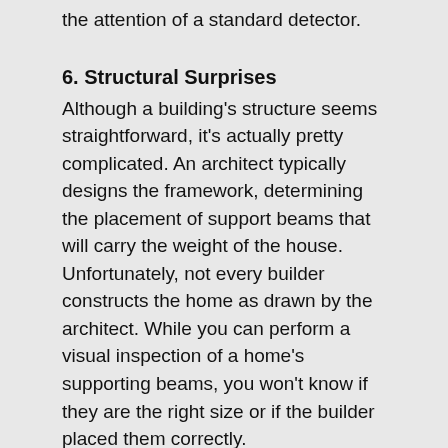the attention of a standard detector.
6. Structural Surprises
Although a building's structure seems straightforward, it's actually pretty complicated. An architect typically designs the framework, determining the placement of support beams that will carry the weight of the house. Unfortunately, not every builder constructs the home as drawn by the architect. While you can perform a visual inspection of a home's supporting beams, you won't know if they are the right size or if the builder placed them correctly.
7. Unexpected Demands on Your Budget
Whether or not you're overextending yourself financially by buying a home, you should know what to